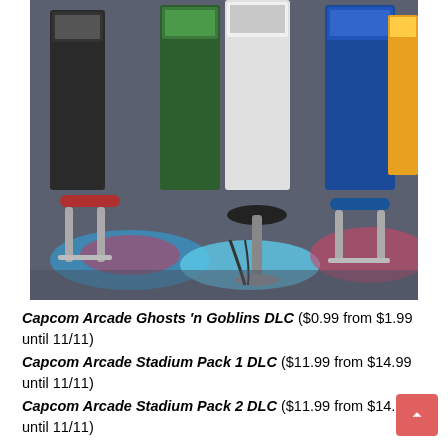[Figure (photo): Arcade cabinet machines with colorful stools/chairs in red, black, and blue. The cabinets are white, green, and blue. Colorful neon lights illuminate the floor area beneath the chairs.]
Capcom Arcade Ghosts 'n Goblins DLC ($0.99 from $1.99 until 11/11)
Capcom Arcade Stadium Pack 1 DLC ($11.99 from $14.99 until 11/11)
Capcom Arcade Stadium Pack 2 DLC ($11.99 from $14.99 until 11/11)